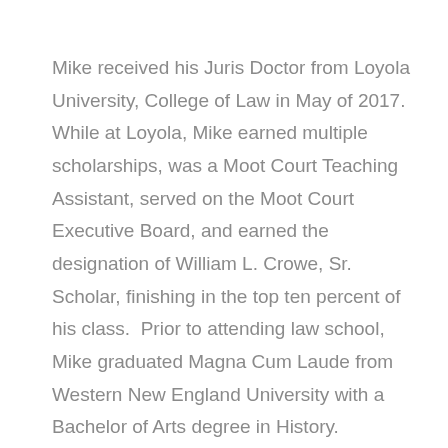Mike received his Juris Doctor from Loyola University, College of Law in May of 2017. While at Loyola, Mike earned multiple scholarships, was a Moot Court Teaching Assistant, served on the Moot Court Executive Board, and earned the designation of William L. Crowe, Sr. Scholar, finishing in the top ten percent of his class.  Prior to attending law school, Mike graduated Magna Cum Laude from Western New England University with a Bachelor of Arts degree in History.